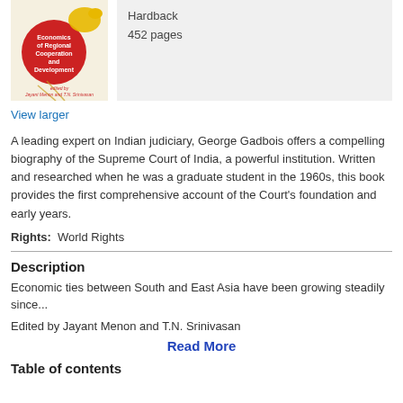[Figure (illustration): Book cover for Economics of Regional Cooperation and Development, edited by Jayant Menon and T.N. Srinivasan, with red circle and yellow bird design on cream background]
Hardback
452 pages
View larger
A leading expert on Indian judiciary, George Gadbois offers a compelling biography of the Supreme Court of India, a powerful institution. Written and researched when he was a graduate student in the 1960s, this book provides the first comprehensive account of the Court's foundation and early years.
Rights:  World Rights
Description
Economic ties between South and East Asia have been growing steadily since...
Edited by Jayant Menon and T.N. Srinivasan
Read More
Table of contents